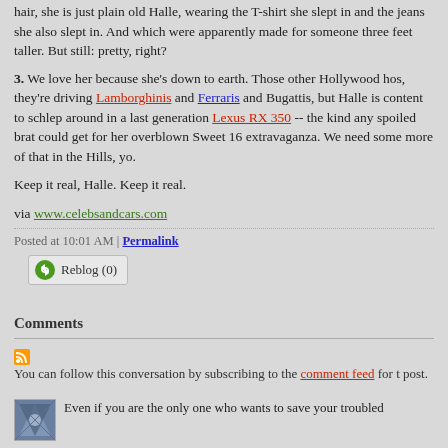hair, she is just plain old Halle, wearing the T-shirt she slept in and the jeans she also slept in. And which were apparently made for someone three feet taller. But still: pretty, right?
3. We love her because she's down to earth. Those other Hollywood hos, they're driving Lamborghinis and Ferraris and Bugattis, but Halle is content to schlep around in a last generation Lexus RX 350 -- the kind any spoiled brat could get for her overblown Sweet 16 extravaganza. We need some more of that in the Hills, yo.
Keep it real, Halle. Keep it real.
via www.celebsandcars.com
Posted at 10:01 AM | Permalink
Reblog (0)
Comments
You can follow this conversation by subscribing to the comment feed for t post.
Even if you are the only one who wants to save your troubled